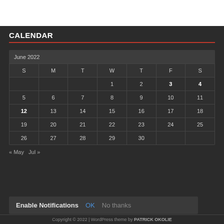CALENDAR
| S | M | T | W | T | F | S |
| --- | --- | --- | --- | --- | --- | --- |
|  |  |  | 1 | 2 | 3 | 4 |
| 5 | 6 | 7 | 8 | 9 | 10 | 11 |
| 12 | 13 | 14 | 15 | 16 | 17 | 18 |
| 19 | 20 | 21 | 22 | 23 | 24 | 25 |
| 26 | 27 | 28 | 29 | 30 |  |  |
« May   Jul »
Enable Notifications  OK  No thanks
Copyright © 2022 | WordPress theme by PATRICK OKOLIE